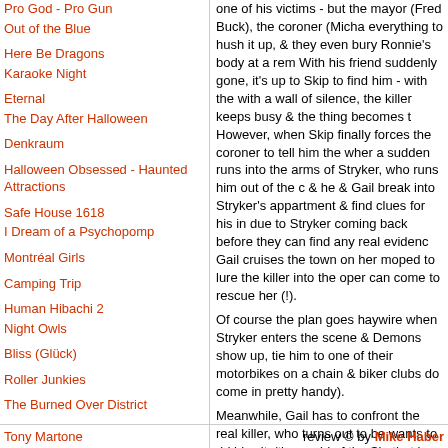Pro God - Pro Gun
Out of the Blue
Here Be Dragons
Karaoke Night
Eternal
The Day After Halloween
Denkraum
Halloween Obsessed - Haunted Attractions
Safe House 1618
I Dream of a Psychopomp
Montréal Girls
Camping Trip
Human Hibachi 2
Night Owls
Bliss (Glück)
Roller Junkies
The Burned Over District
Tony Martone
one of his victims - but the mayor (Fred Buck), the coroner (Micha... everything to hush it up, & they even bury Ronnie's body at a rem... With his friend suddenly gone, it's up to Skip to find him - with the... with a wall of silence, the killer keeps busy & the thing becomes t... However, when Skip finally forces the coroner to tell him the wher... a sudden runs into the arms of Stryker, who runs him out of the c... & he & Gail break into Stryker's appartment & find clues for his in... due to Stryker coming back before they can find any real evidenc... Gail cruises the town on her moped to lure the killer into the oper... can come to rescue her (!).
Of course the plan goes haywire when Stryker enters the scene &... Demons show up, tie him to one of their motorbikes on a chain &... biker clubs do come in pretty handy).
Meanwhile, Gail has to confront the real killer, who turns out to be... wants to rid his city/the world of the Sin that is called Spring Brea... with the help of a conveniently placed electric wire, the he & Gail...
Rather stupid slasher movie made in the wake of Friday the 13th... late - with the difference that this time ... the killer wears a helmet... Apart from borrowing from above movies (& the hordes that came... borrows heavily from Jaws (the seaside location, the authorities t... tourism), & thanks to these well-known inspirations (& let's face it... all that original in the first place), this movie here stays totally pre... lacking both charisma & talent - with the exception of John Saxon... a very uninvolved direction.
review © by Mike Haber...